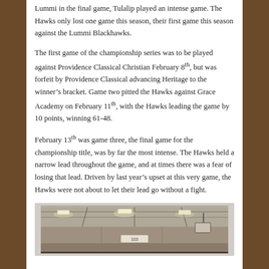Lummi in the final game, Tulalip played an intense game. The Hawks only lost one game this season, their first game this season against the Lummi Blackhawks.
The first game of the championship series was to be played against Providence Classical Christian February 8th, but was forfeit by Providence Classical advancing Heritage to the winner's bracket. Game two pitted the Hawks against Grace Academy on February 11th, with the Hawks leading the game by 10 points, winning 61-48.
February 13th was game three, the final game for the championship title, was by far the most intense. The Hawks held a narrow lead throughout the game, and at times there was a fear of losing that lead. Driven by last year's upset at this very game, the Hawks were not about to let their lead go without a fight.
[Figure (photo): Interior photo of a gymnasium with overhead lighting, showing ceiling rafters and basketball court area.]